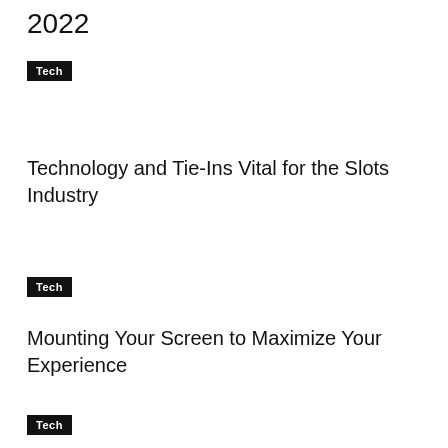2022
Tech
Technology and Tie-Ins Vital for the Slots Industry
Tech
Mounting Your Screen to Maximize Your Experience
Tech
< >